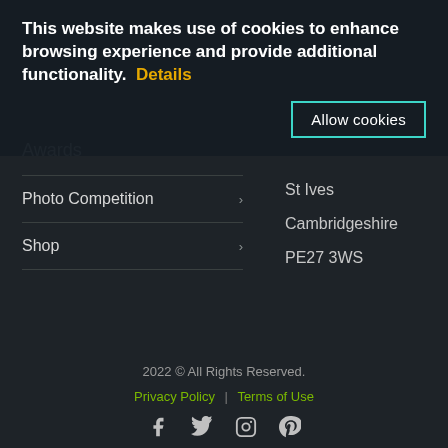This website makes use of cookies to enhance browsing experience and provide additional functionality.  Details
Allow cookies
Awards
Photo Competition
Shop
St Ives
Cambridgeshire
PE27 3WS
2022 © All Rights Reserved.
Privacy Policy  |  Terms of Use
Social icons: facebook, twitter, instagram, pinterest